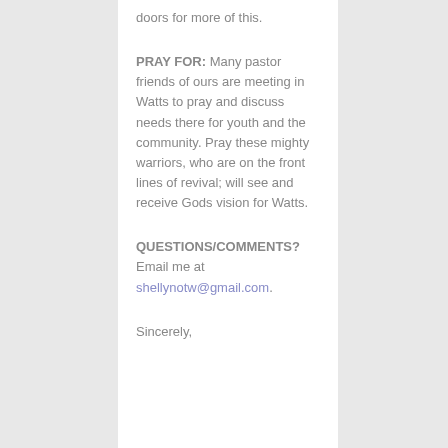doors for more of this.
PRAY FOR: Many pastor friends of ours are meeting in Watts to pray and discuss needs there for youth and the community. Pray these mighty warriors, who are on the front lines of revival; will see and receive Gods vision for Watts.
QUESTIONS/COMMENTS? Email me at shellynotw@gmail.com.
Sincerely,